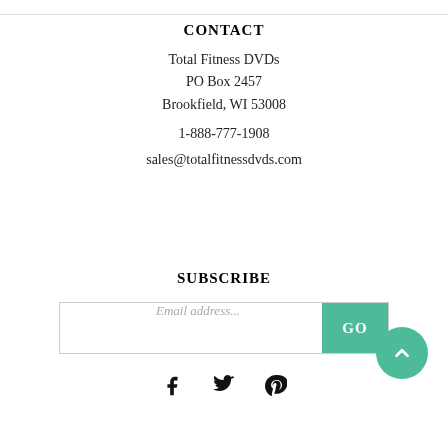CONTACT
Total Fitness DVDs
PO Box 2457
Brookfield, WI 53008
1-888-777-1908
sales@totalfitnessdvds.com
SUBSCRIBE
Email address... [input field] GO
[Figure (other): Social media icons: Facebook, Twitter, Pinterest and a back-to-top green circular button with chevron up arrow]